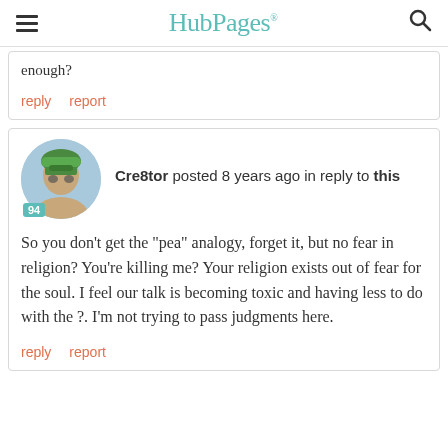HubPages
enough?
reply   report
Cre8tor posted 8 years ago in reply to this
So you don't get the "pea" analogy, forget it, but no fear in religion? You're killing me? Your religion exists out of fear for the soul. I feel our talk is becoming toxic and having less to do with the ?. I'm not trying to pass judgments here.
reply   report